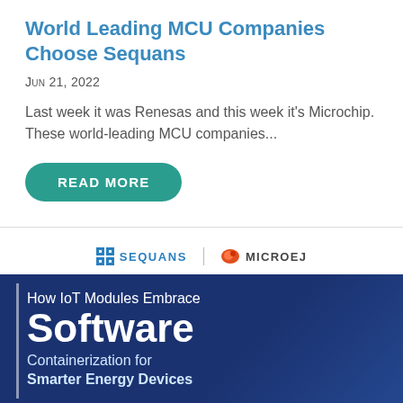World Leading MCU Companies Choose Sequans
Jun 21, 2022
Last week it was Renesas and this week it's Microchip. These world-leading MCU companies...
READ MORE
[Figure (logo): Sequans and MicroEJ logos side by side with a vertical divider]
[Figure (infographic): Dark blue banner reading 'How IoT Modules Embrace Software Containerization for Smarter Energy Devices' with Sequans and MicroEJ branding]